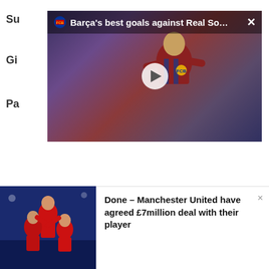Su
Gi
Pa
[Figure (screenshot): Video overlay popup showing 'Barça's best goals against Real So...' with a play button over a dark-toned thumbnail of a football player in a red and blue Barcelona jersey. A Barça club logo and close (×) button appear in the top-right corner.]
[Figure (photo): Manchester United players celebrating, wearing red jerseys, in a stadium setting.]
Done – Manchester United have agreed £7million deal with their player